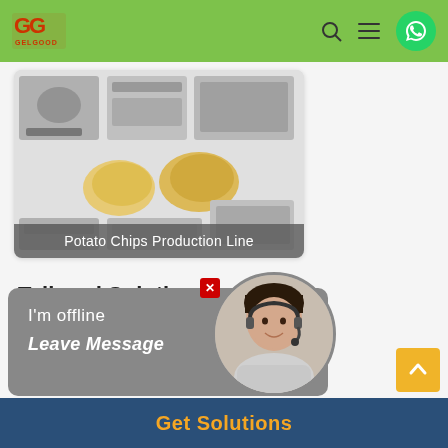GELGOOG - header with logo, search, menu, WhatsApp
[Figure (photo): Potato Chips Production Line machinery grid showing peeler, fryer, conveyor, packaging machines, and potato chips]
Potato Chips Production Line
Tailored Solutions
Small Potato Chips Plant
Frozen French Fry Plant
[Figure (screenshot): Chat widget showing I'm offline / Leave Message with customer service avatar]
French Fries Produc...
Small French Fry Pr...
Get Solutions